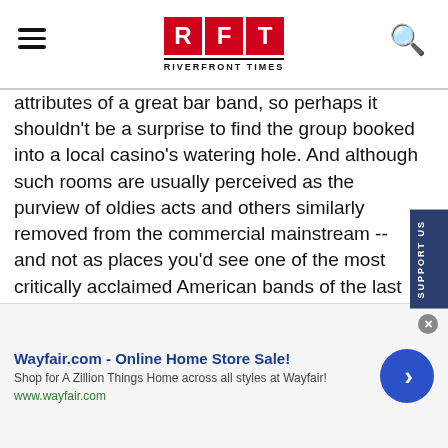RFT RIVERFRONT TIMES
attributes of a great bar band, so perhaps it shouldn't be a surprise to find the group booked into a local casino's watering hole. And although such rooms are usually perceived as the purview of oldies acts and others similarly removed from the commercial mainstream -- and not as places you'd see one of the most critically acclaimed American bands of the last quarter-century -- the idea of Los Lobos at Harrah's makes a weird kind of sense, because the band's career has been full of unexpected turns.

From its beginnings crossing over from playing at Mexican weddings to LA punk clubs, to its fluke-hit cover of "La
Wayfair.com - Online Home Store Sale!
Shop for A Zillion Things Home across all styles at Wayfair!
www.wayfair.com